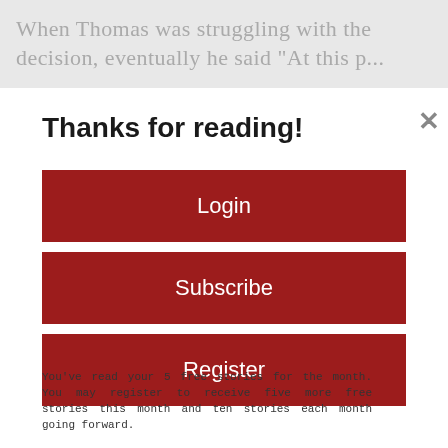When Thomas was struggling with the decision, eventually he said "At this point...
Thanks for reading!
[Figure (screenshot): Red button labeled Login]
[Figure (screenshot): Red button labeled Subscribe]
[Figure (screenshot): Red button labeled Register]
You've read your 5 free stories for the month. You may register to receive five more free stories this month and ten stories each month going forward.